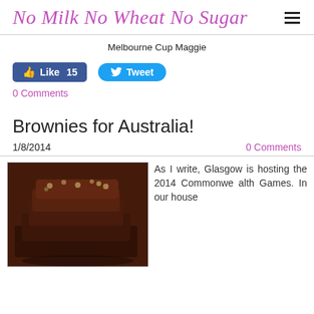No Milk No Wheat No Sugar
Melbourne Cup Maggie
[Figure (screenshot): Facebook Like button showing 15 likes and Twitter Tweet button]
0 Comments
Brownies for Australia!
1/8/2014
0 Comments
[Figure (photo): Stack of chocolate brownies with nuts on a plate]
As I write, Glasgow is hosting the 2014 Commonwealth Games. In our house